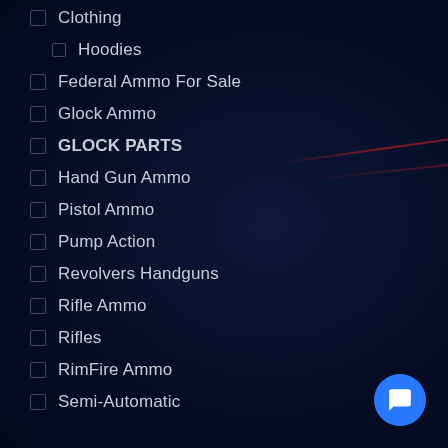Clothing
Hoodies
Federal Ammo For Sale
Glock Ammo
GLOCK PARTS
Hand Gun Ammo
Pistol Ammo
Pump Action
Revolvers Handguns
Rifle Ammo
Rifles
RimFire Ammo
Semi-Automatic